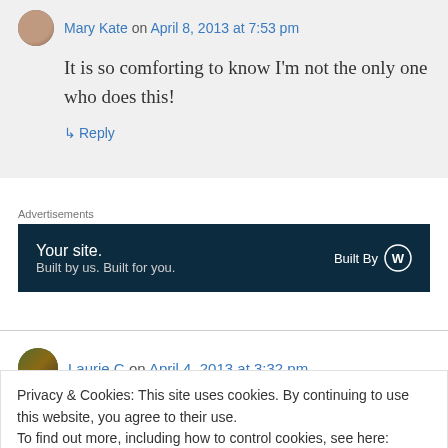Mary Kate on April 8, 2013 at 7:53 pm
It is so comforting to know I'm not the only one who does this!
↳ Reply
Advertisements
[Figure (other): WordPress advertisement banner: 'Your site. Built by us. Built for you. Built By WordPress logo']
Laurie C on April 4, 2013 at 3:32 pm
Privacy & Cookies: This site uses cookies. By continuing to use this website, you agree to their use.
To find out more, including how to control cookies, see here: Cookie Policy
Close and accept
toadstalls from Rome sounds fabulous, though,